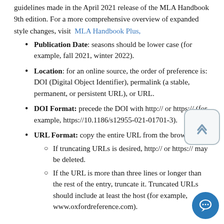guidelines made in the April 2021 release of the MLA Handbook 9th edition. For a more comprehensive overview of expanded style changes, visit MLA Handbook Plus,
Publication Date: seasons should be lower case (for example, fall 2021, winter 2022).
Location: for an online source, the order of preference is: DOI (Digital Object Identifier), permalink (a stable, permanent, or persistent URL), or URL.
DOI Format: precede the DOI with http:// or https:// (for example, https://10.1186/s12955-021-01701-3).
URL Format: copy the entire URL from the browser.
If truncating URLs is desired, http:// or https:// may be deleted.
If the URL is more than three lines or longer than the rest of the entry, truncate it. Truncated URLs should include at least the host (for example, www.oxfordreference.com).